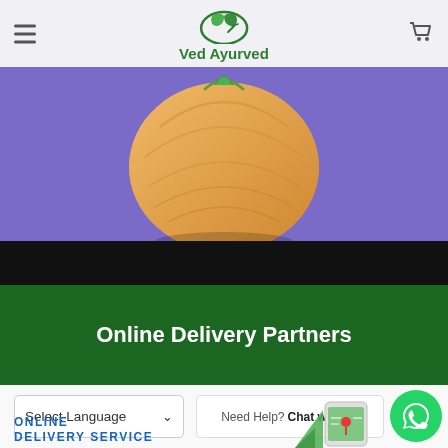Ved Ayurved
[Figure (illustration): Purple background with an onion illustration centered, overlaid with a black bar at the bottom]
Online Delivery Partners
Select Language
Need Help? Chat with us
ONLINE DELIVERY SERVICE